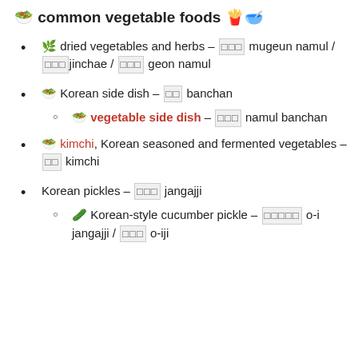🥗 common vegetable foods 🍟🥣
🌿 dried vegetables and herbs – [Korean] mugeun namul / [Korean] jinchae / [Korean] geon namul
🥗 Korean side dish – [Korean] banchan
🥗 vegetable side dish – [Korean] namul banchan
🥗 kimchi, Korean seasoned and fermented vegetables – [Korean] kimchi
Korean pickles – [Korean] jangajji
🥒 Korean-style cucumber pickle – [Korean] o-i jangajji / [Korean] o-iji
[Figure (screenshot): Advertisement banner for Seamless food ordering service with pizza photo, red Seamless logo button, and ORDER NOW button on dark background]